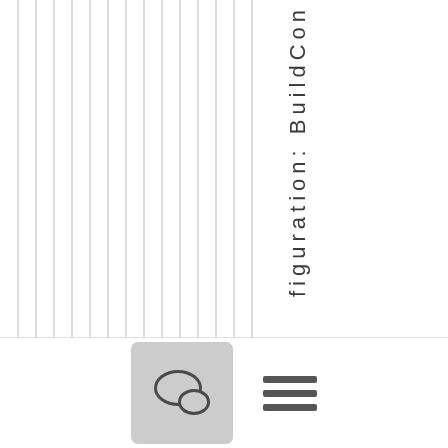[Figure (other): Vertical striped background pattern with multiple thin vertical lines on left portion of page]
figuration: BuildCon
[Figure (other): Bottom bar with chat bubble icon button and hamburger menu icon]